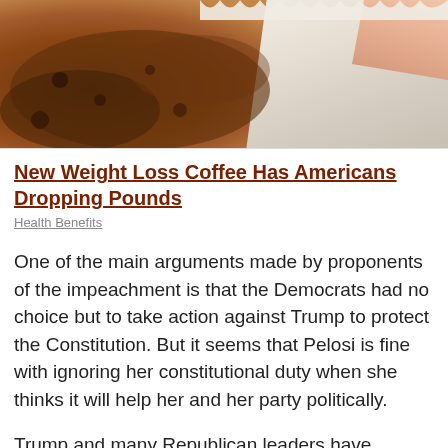[Figure (photo): Advertisement image showing coffee grounds and a white coffee filter with a hand, promoting weight loss coffee.]
New Weight Loss Coffee Has Americans Dropping Pounds
Health Benefits
One of the main arguments made by proponents of the impeachment is that the Democrats had no choice but to take action against Trump to protect the Constitution. But it seems that Pelosi is fine with ignoring her constitutional duty when she thinks it will help her and her party politically.
Trump and many Republican leaders have countered impeachment by suggesting that it is the Democrats who are, in fact, doing everything they accuse Trump of having done. By twisting the rules in the House so